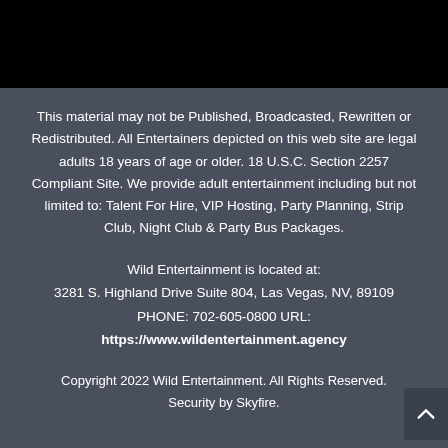This material may not be Published, Broadcasted, Rewritten or Redistributed. All Entertainers depicted on this web site are legal adults 18 years of age or older. 18 U.S.C. Section 2257 Compliant Site. We provide adult entertainment including but not limited to: Talent For Hire, VIP Hosting, Party Planning, Strip Club, Night Club & Party Bus Packages.
Wild Entertainment is located at:
3281 S. Highland Drive Suite 804, Las Vegas, NV, 89109
PHONE: 702-605-0800 URL:
https://www.wildentertainment.agency
Copyright 2022 Wild Entertainment. All Rights Reserved.
Security by Skyfire.